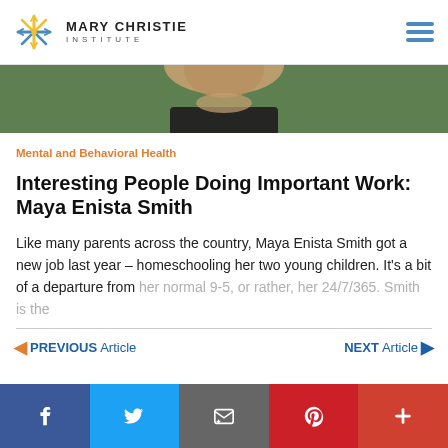Mary Christie Institute
[Figure (photo): Cropped photo of a person from behind/torso area against a green leafy background]
Mental and Behavioral Health
Interesting People Doing Important Work: Maya Enista Smith
Like many parents across the country, Maya Enista Smith got a new job last year – homeschooling her two young children. It's a bit of a departure from her normal 9-5, or rather, her 24/7/365. Smith is the
◄ PREVIOUS Article   NEXT Article ►